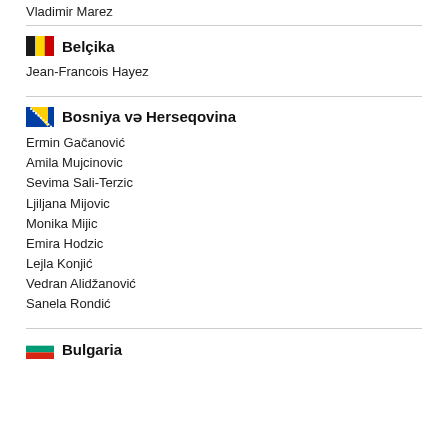Vladimir Marez
Belçika
Jean-Francois Hayez
Bosniya və Herseqovina
Ermin Gačanović
Amila Mujcinovic
Sevima Sali-Terzic
Ljiljana Mijovic
Monika Mijic
Emira Hodzic
Lejla Konjić
Vedran Alidžanović
Sanela Rondić
Bulgaria